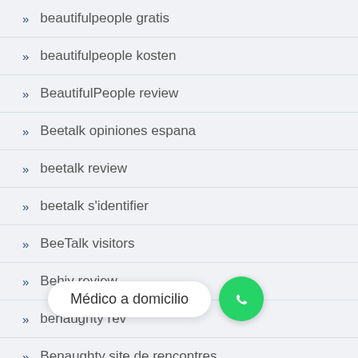beautifulpeople gratis
beautifulpeople kosten
BeautifulPeople review
Beetalk opiniones espana
beetalk review
beetalk s'identifier
BeeTalk visitors
Behiv review
benaughty rev…
Benaughty site de rencontres